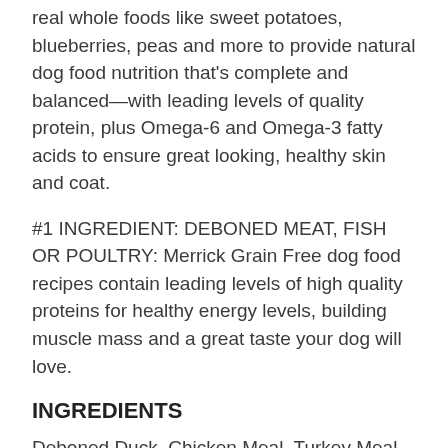real whole foods like sweet potatoes, blueberries, peas and more to provide natural dog food nutrition that's complete and balanced—with leading levels of quality protein, plus Omega-6 and Omega-3 fatty acids to ensure great looking, healthy skin and coat.
#1 INGREDIENT: DEBONED MEAT, FISH OR POULTRY: Merrick Grain Free dog food recipes contain leading levels of high quality proteins for healthy energy levels, building muscle mass and a great taste your dog will love.
INGREDIENTS
Deboned Duck, Chicken Meal, Turkey Meal, Peas, Sweet Potatoes, Potatoes, Chicken Fat, Salmon Meal, Pea Protein, Potato Protein, Deboned Chicken, Natural Flavor, Flaxseed, Sunflower Oil, Salt, Organic